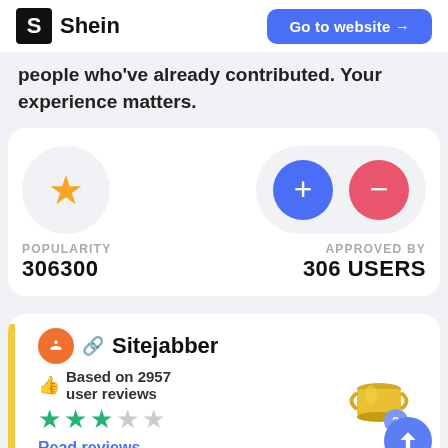Shein  Go to website →
people who've already contributed. Your experience matters.
POPULARITY
306300
APPROVED BY
306 USERS
[Figure (infographic): Sitejabber review section with orange logo, link icon, title 'Sitejabber', thumbs up icon, 'Based on 2957 user reviews', 3-star rating (green filled, 2 grey), 'Read reviews' link in blue, gold trophy image with ranking badge, blue scroll-up button]
Based on 2957 user reviews
Read reviews